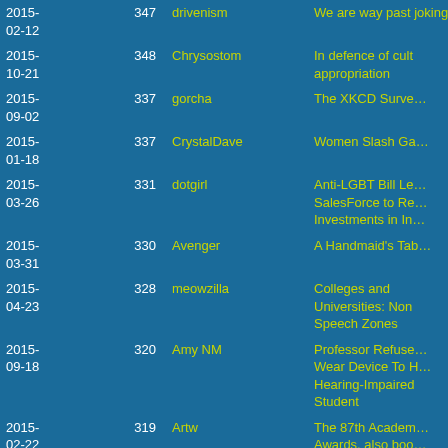| Date | Score | User | Title |
| --- | --- | --- | --- |
| 2015-02-12 | 347 | drivenism | We are way past joking. |
| 2015-10-21 | 348 | Chrysostom | In defence of cultural appropriation |
| 2015-09-02 | 337 | gorcha | The XKCD Surve… |
| 2015-01-18 | 337 | CrystalDave | Women Slash Ga… |
| 2015-03-26 | 331 | dotgirl | Anti-LGBT Bill Le… SalesForce to Re… Investments in In… |
| 2015-03-31 | 330 | Avenger | A Handmaid's Tal… |
| 2015-04-23 | 328 | meowzilla | Colleges and Universities: Non Speech Zones |
| 2015-09-18 | 320 | Amy NM | Professor Refuse… Wear Device To H… Hearing-Impaired Student |
| 2015-02-22 | 319 | Artw | The 87th Academy Awards, also boo… |
| 2015-11-25 | 316 | roomthreeseventeen | Laquan McDonal… |
| 2015-11-05 | 313 | Muddler | Ben Carson Gets Schwifty |
| 2015-09-21 | 313 | runt | Is popular Atheism racist? |
| 2015-05-15 | 313 | Chrysostom | Rich, armed, and… for the end of day… |
| 2015-… | 311 | Etrigan | Kim Kanguers N… |